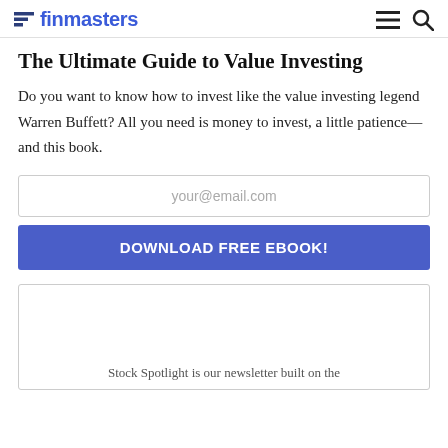finmasters
The Ultimate Guide to Value Investing
Do you want to know how to invest like the value investing legend Warren Buffett? All you need is money to invest, a little patience—and this book.
your@email.com
DOWNLOAD FREE EBOOK!
Stock Spotlight is our newsletter built on the